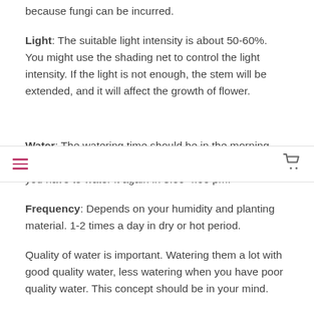because fungi can be incurred.
Light: The suitable light intensity is about 50-60%. You might use the shading net to control the light intensity. If the light is not enough, the stem will be extended, and it will affect the growth of flower.
Water: The watering time should be in the morning, and if the planting material getting dry before noon, you have to water it again in 3.00-4.00 pm.
Frequency: Depends on your humidity and planting material. 1-2 times a day in dry or hot period.
Quality of water is important. Watering them a lot with good quality water, less watering when you have poor quality water. This concept should be in your mind.
Fertilizer: Both soluble fertilizer and slow-release fertilizer can be used. High Phosphorus contents can speed up the flower growth. It should be used twice a